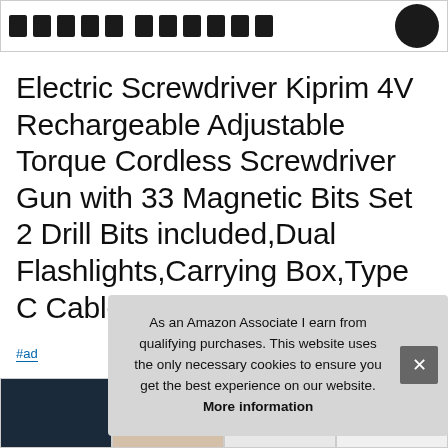[Figure (screenshot): Top image bar with small rectangular icon shapes in a row and a circular dark thumbnail on the right]
Electric Screwdriver Kiprim 4V Rechargeable Adjustable Torque Cordless Screwdriver Gun with 33 Magnetic Bits Set 2 Drill Bits included,Dual Flashlights,Carrying Box,Type C Cable
#ad
As an Amazon Associate I earn from qualifying purchases. This website uses the only necessary cookies to ensure you get the best experience on our website. More information
[Figure (screenshot): Bottom row of four product thumbnail images]